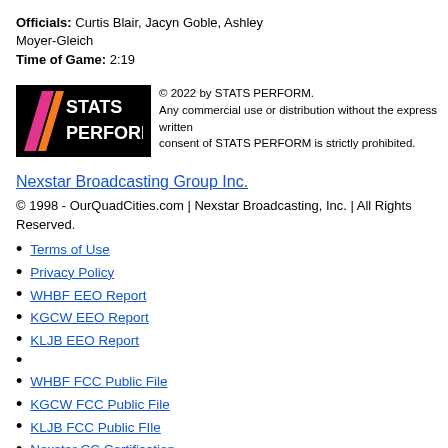Officials: Curtis Blair, Jacyn Goble, Ashley Moyer-Gleich
Time of Game: 2:19
[Figure (logo): STATS PERFORM logo on black background with pink/orange diagonal stripes]
© 2022 by STATS PERFORM. Any commercial use or distribution without the express written consent of STATS PERFORM is strictly prohibited.
Nexstar Broadcasting Group Inc.
© 1998 - OurQuadCities.com | Nexstar Broadcasting, Inc. | All Rights Reserved.
Terms of Use
Privacy Policy
WHBF EEO Report
KGCW EEO Report
KLJB EEO Report
WHBF FCC Public File
KGCW FCC Public File
KLJB FCC Public FIle
Nexstar CC Certification